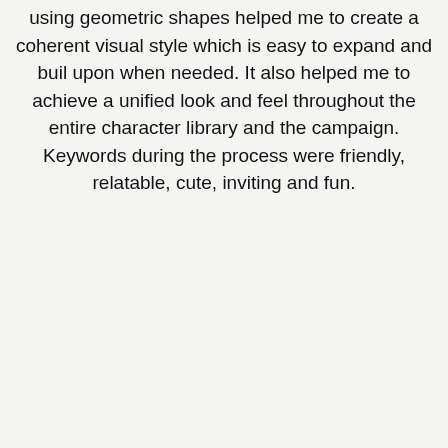using geometric shapes helped me to create a coherent visual style which is easy to expand and buil upon when needed. It also helped me to achieve a unified look and feel throughout the entire character library and the campaign. Keywords during the process were friendly, relatable, cute, inviting and fun.